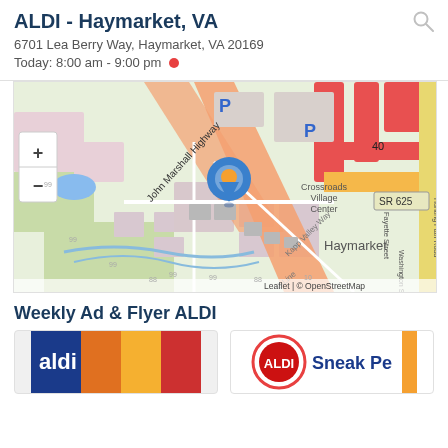ALDI - Haymarket, VA
6701 Lea Berry Way, Haymarket, VA 20169
Today: 8:00 am - 9:00 pm
[Figure (map): OpenStreetMap showing ALDI location at Crossroads Village Center in Haymarket, VA. Map shows John Marshall Highway, Kapp Valley Way, B-Line, Fayette Street, Washington Street, Hunting Path Road, SR 625 route marker. Blue location pin marks ALDI store. Map has zoom +/- controls. Attribution: Leaflet | © OpenStreetMap]
Weekly Ad & Flyer ALDI
[Figure (other): Partial view of ALDI weekly ad flyer thumbnail showing colorful product images]
[Figure (other): Partial view of ALDI Sneak Pe(ek) flyer thumbnail with ALDI logo]